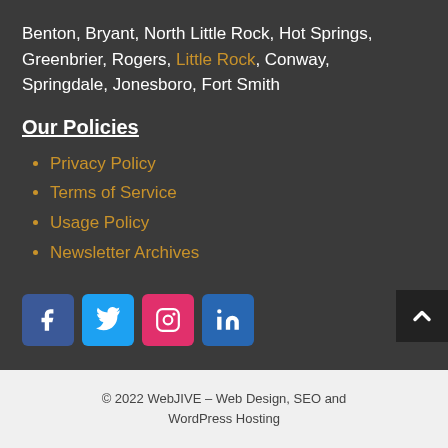Benton, Bryant, North Little Rock, Hot Springs, Greenbrier, Rogers, Little Rock, Conway, Springdale, Jonesboro, Fort Smith
Our Policies
Privacy Policy
Terms of Service
Usage Policy
Newsletter Archives
[Figure (other): Social media icons row: Facebook (blue), Twitter (light blue), Instagram (pink/red), LinkedIn (blue)]
© 2022 WebJIVE – Web Design, SEO and WordPress Hosting